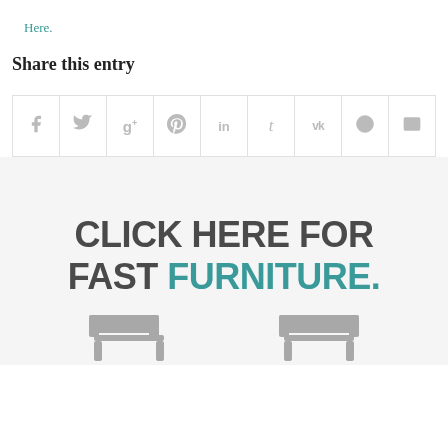Here.
Share this entry
[Figure (infographic): Social share bar with icons for Facebook, Twitter, Google+, Pinterest, LinkedIn, Tumblr, VK, Reddit, and email]
[Figure (infographic): Advertisement banner with text 'CLICK HERE FOR FAST FURNITURE.' and furniture illustration at bottom]